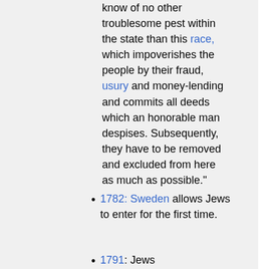know of no other troublesome pest within the state than this race, which impoverishes the people by their fraud, usury and money-lending and commits all deeds which an honorable man despises. Subsequently, they have to be removed and excluded from here as much as possible."
1782: Sweden allows Jews to enter for the first time.
1791: Jews